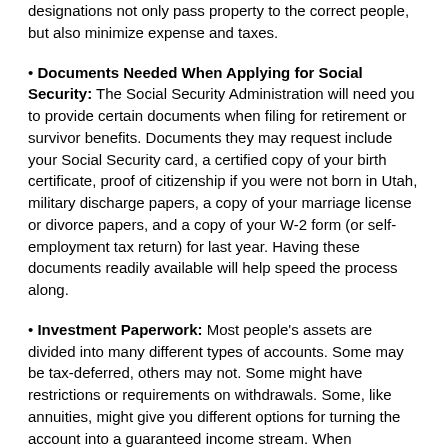designations not only pass property to the correct people, but also minimize expense and taxes.
• Documents Needed When Applying for Social Security: The Social Security Administration will need you to provide certain documents when filing for retirement or survivor benefits. Documents they may request include your Social Security card, a certified copy of your birth certificate, proof of citizenship if you were not born in Utah, military discharge papers, a copy of your marriage license or divorce papers, and a copy of your W-2 form (or self-employment tax return) for last year. Having these documents readily available will help speed the process along.
• Investment Paperwork: Most people's assets are divided into many different types of accounts. Some may be tax-deferred, others may not. Some might have restrictions or requirements on withdrawals. Some, like annuities, might give you different options for turning the account into a guaranteed income stream. When transitioning into retirement, it is important to have current copies of your account statements as well as options or restrictions associated with each account so you can craft a distribution strategy that meets your needs while minimizing expense, hassle and taxes.